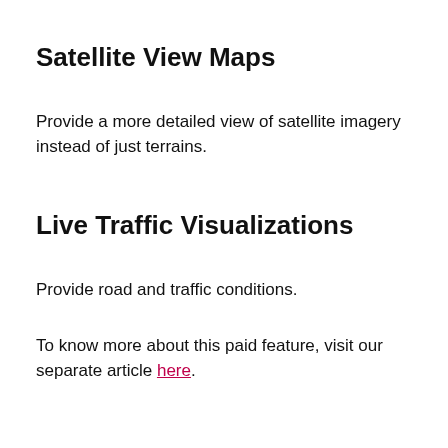Satellite View Maps
Provide a more detailed view of satellite imagery instead of just terrains.
Live Traffic Visualizations
Provide road and traffic conditions.
To know more about this paid feature, visit our separate article here.